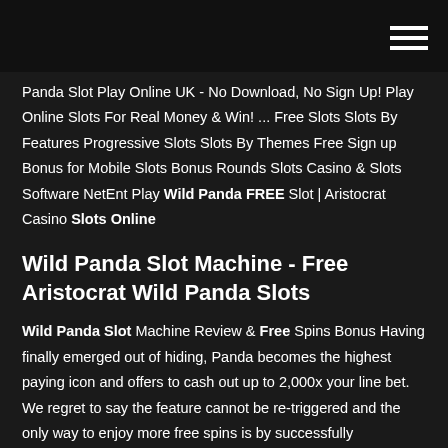Panda Slot Play Online UK - No Download, No Sign Up! Play Online Slots For Real Money & Win! ... Free Slots Slots By Features Progressive Slots Slots By Themes Free Sign up Bonus for Mobile Slots Bonus Rounds Slots Casino & Slots Software NetEnt Play Wild Panda FREE Slot | Aristocrat Casino Slots Online
Wild Panda Slot Machine - Free Aristocrat Wild Panda Slots
Wild Panda Slot Machine Review & Free Spins Bonus Having finally emerged out of hiding, Panda becomes the highest paying icon and offers to cash out up to 2,000x your line bet. We regret to say the feature cannot be re-triggered and the only way to enjoy more free spins is by successfully